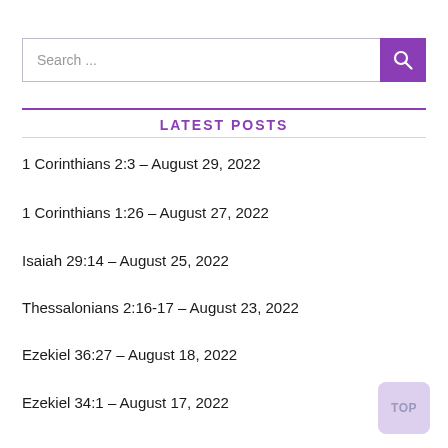Search ...
LATEST POSTS
1 Corinthians 2:3 – August 29, 2022
1 Corinthians 1:26 – August 27, 2022
Isaiah 29:14 – August 25, 2022
Thessalonians 2:16-17 – August 23, 2022
Ezekiel 36:27 – August 18, 2022
Ezekiel 34:1 – August 17, 2022